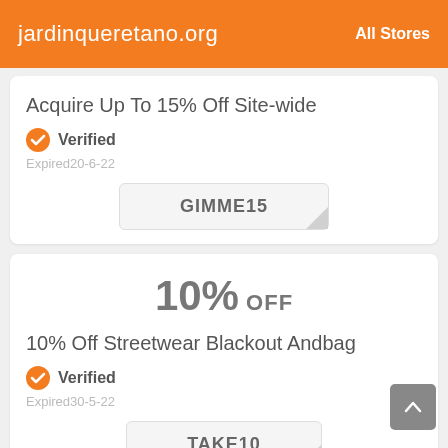jardinqueretano.org  All Stores
Acquire Up To 15% Off Site-wide
Verified
Expired20-6-22
GIMME15
10% OFF
10% Off Streetwear Blackout Andbag
Verified
Expired30-5-22
TAKE10